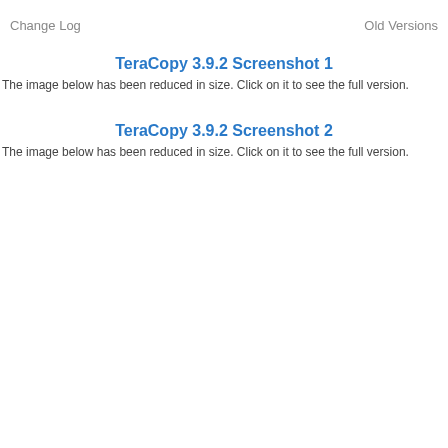Change Log    Old Versions
TeraCopy 3.9.2 Screenshot 1
The image below has been reduced in size. Click on it to see the full version.
TeraCopy 3.9.2 Screenshot 2
The image below has been reduced in size. Click on it to see the full version.